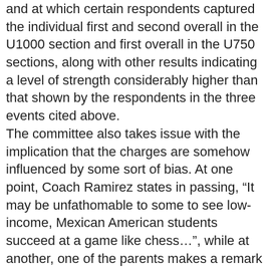and at which certain respondents captured the individual first and second overall in the U1000 section and first overall in the U750 sections, along with other results indicating a level of strength considerably higher than that shown by the respondents in the three events cited above. The committee also takes issue with the implication that the charges are somehow influenced by some sort of bias. At one point, Coach Ramirez states in passing, “It may be unfathomable to some to see low-income, Mexican American students succeed at a game like chess…”, while at another, one of the parents makes a remark about “minority teams” getting a fair shake. The statistics cited by the complainants are drawn from the US Chess database of rated game results, which span over 25 years and includes the records of thousands of players from every conceivable racial, cultural and socio-economic group. They apply to everyone. The committee also notes several points where Coach Ramirez and other respondents seem to suggest that all the statistics are just meaningless numbers that don’t have any applicability to real human beings. However, the charts, graphs and math are just a way of describing a very simple, real world truth – that when any large group of humans